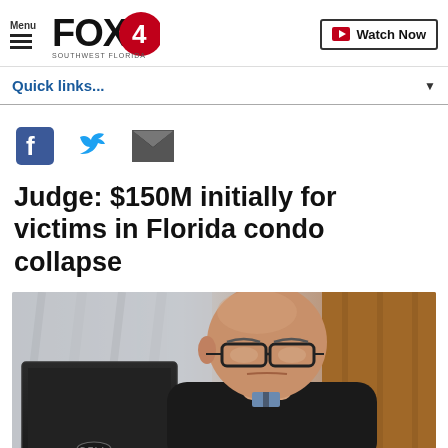Menu | FOX4 Southwest Florida | Watch Now
Quick links...
[Figure (illustration): Social sharing icons: Facebook, Twitter, Email]
Judge: $150M initially for victims in Florida condo collapse
[Figure (photo): A bald judge wearing glasses sits behind a Dell computer monitor in a courtroom, looking serious]